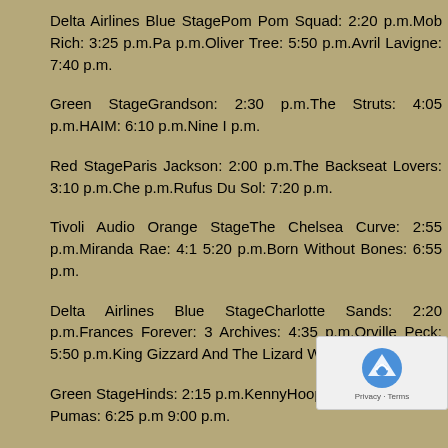Delta Airlines Blue StagePom Pom Squad: 2:20 p.m.Mob Rich: 3:25 p.m.Pa p.m.Oliver Tree: 5:50 p.m.Avril Lavigne: 7:40 p.m.
Green StageGrandson: 2:30 p.m.The Struts: 4:05 p.m.HAIM: 6:10 p.m.Nine I p.m.
Red StageParis Jackson: 2:00 p.m.The Backseat Lovers: 3:10 p.m.Che p.m.Rufus Du Sol: 7:20 p.m.
Tivoli Audio Orange StageThe Chelsea Curve: 2:55 p.m.Miranda Rae: 4:1 5:20 p.m.Born Without Bones: 6:55 p.m.
Delta Airlines Blue StageCharlotte Sands: 2:20 p.m.Frances Forever: 3 Archives: 4:35 p.m.Orville Peck: 5:50 p.m.King Gizzard And The Lizard Wizar
Green StageHinds: 2:15 p.m.KennyHoopla: 4:00 p.m.Black Pumas: 6:25 p. 9:00 p.m.
Red StageJulie Rhodes: 1:30 p.m.Celisse: 3:00 p.m.Earthgang: 5:05 p.m.Ro 7:40 p.m.
Tivoli Audio Orange StageDutch Tulips: 2:55 p.m.Coral Moons: p.m.Van Buren Records: 6:55 p.m.